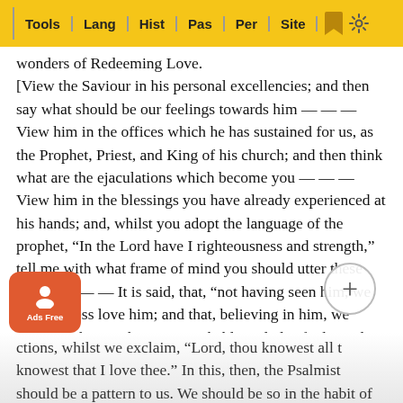Tools | Lang | Hist | Pas | Per | Site
wonders of Redeeming Love. [View the Saviour in his personal excellencies; and then say what should be our feelings towards him — — — View him in the offices which he has sustained for us, as the Prophet, Priest, and King of his church; and then think what are the ejaculations which become you — — — View him in the blessings you have already experienced at his hands; and, whilst you adopt the language of the prophet, “In the Lord have I righteousness and strength,” tell me with what frame of mind you should utter these words — — — It is said, that, “not having seen him, we nevertheless love him; and that, believing in him, we rejoice in him with joy unspeakable and glorified:” and sure I am, that the glorified saints around the throne should scarcely exceed us in the ardour of our [a]ffections, whilst we exclaim, “Lord, thou knowest all things; thou knowest that I love thee.” In this, then, the Psalmist should be a pattern to us. We should be so in the habit of conte[mplating...] ebull[itions...]